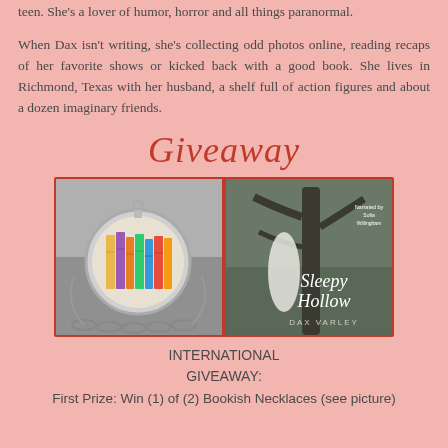teen. She's a lover of humor, horror and all things paranormal.
When Dax isn't writing, she's collecting odd photos online, reading recaps of her favorite shows or kicked back with a good book. She lives in Richmond, Texas with her husband, a shelf full of action figures and about a dozen imaginary friends.
Giveaway
[Figure (photo): Two giveaway prize images side by side: left is a bookish necklace with colorful book spines in a glass dome pendant on a silver chain; right is the cover of 'Sleepy Hollow' by Dax Varley, showing a woman in a white dress leaning against a tree, with a teal circular badge reading 'Narrated by Sofia Willingham'.]
INTERNATIONAL GIVEAWAY:
First Prize: Win (1) of (2) Bookish Necklaces (see picture)